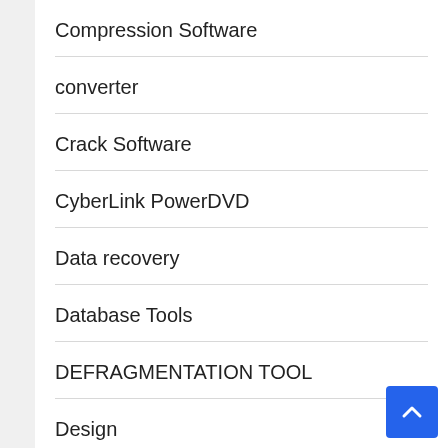Compression Software
converter
Crack Software
CyberLink PowerDVD
Data recovery
Database Tools
DEFRAGMENTATION TOOL
Design
Design and Drafting software